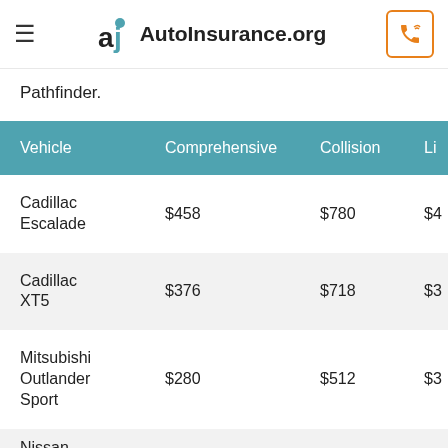AutoInsurance.org
Pathfinder.
| Vehicle | Comprehensive | Collision | Li… |
| --- | --- | --- | --- |
| Cadillac Escalade | $458 | $780 | $4 |
| Cadillac XT5 | $376 | $718 | $3 |
| Mitsubishi Outlander Sport | $280 | $512 | $3 |
| Nissan… |  |  |  |